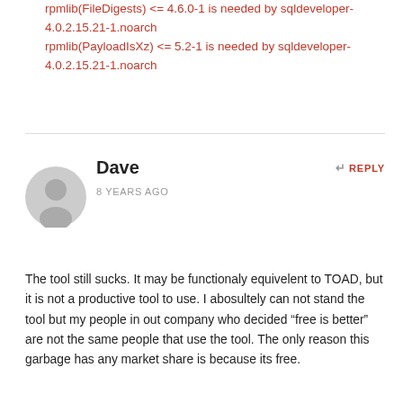rpmlib(FileDigests) <= 4.6.0-1 is needed by sqldeveloper-4.0.2.15.21-1.noarch
rpmlib(PayloadIsXz) <= 5.2-1 is needed by sqldeveloper-4.0.2.15.21-1.noarch
Dave
8 YEARS AGO
[Figure (illustration): Gray circular user avatar icon]
REPLY
The tool still sucks. It may be functionaly equivelent to TOAD, but it is not a productive tool to use. I abosultely can not stand the tool but my people in out company who decided “free is better” are not the same people that use the tool. The only reason this garbage has any market share is because its free.